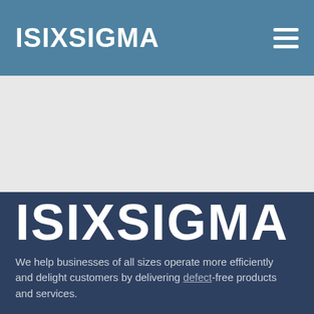ISIXSIGMA
[Figure (other): Grey placeholder/hero image area]
ISIXSIGMA
We help businesses of all sizes operate more efficiently and delight customers by delivering defect-free products and services.